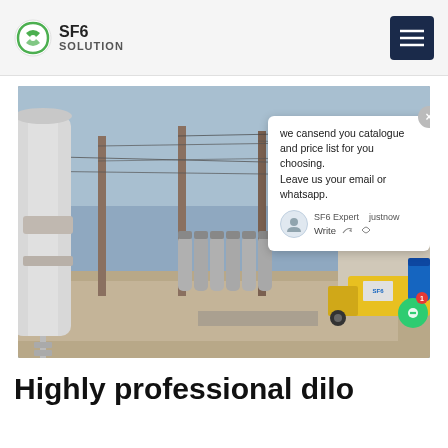SF6 SOLUTION
[Figure (photo): Industrial electrical substation with large gas cylinders, power transmission towers with wiring, and a yellow truck in the background. A white chat popup overlay is visible on the right side saying 'we cansend you catalogue and price list for you choosing. Leave us your email or whatsapp.' with SF6 Expert just now, Write.]
Highly professional dilo